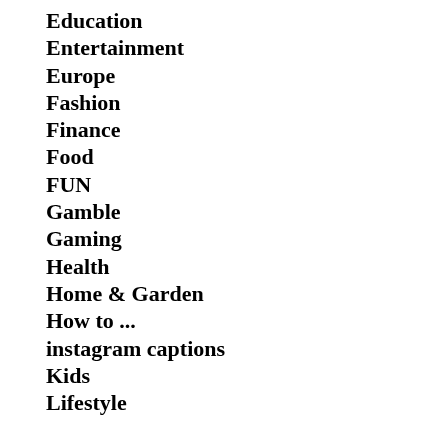Education
Entertainment
Europe
Fashion
Finance
Food
FUN
Gamble
Gaming
Health
Home & Garden
How to ...
instagram captions
Kids
Lifestyle